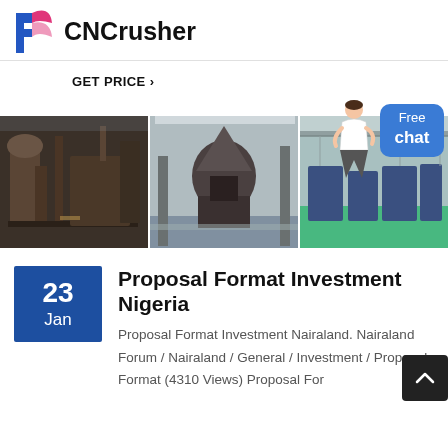CNCrusher
GET PRICE ›
[Figure (photo): Three industrial factory/crusher machinery photos side by side]
Proposal Format Investment Nigeria
Proposal Format Investment Nairaland. Nairaland Forum / Nairaland / General / Investment / Proposal Format (4310 Views) Proposal For